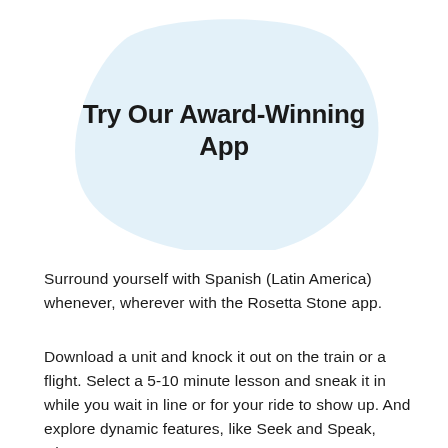[Figure (illustration): Light blue rounded blob/cloud shape serving as background for the title text]
Try Our Award-Winning App
Surround yourself with Spanish (Latin America) whenever, wherever with the Rosetta Stone app.
Download a unit and knock it out on the train or a flight. Select a 5-10 minute lesson and sneak it in while you wait in line or for your ride to show up. And explore dynamic features, like Seek and Speak, where you can